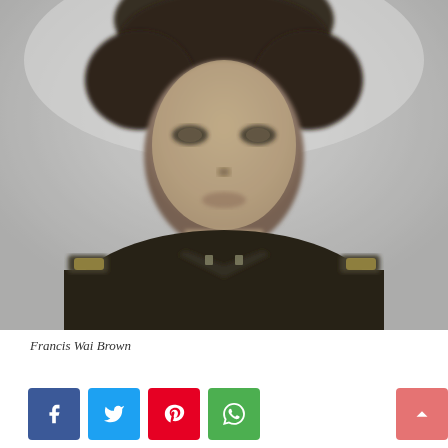[Figure (photo): Black and white portrait photo of Francis Wai Brown, a young man in military uniform with epaulettes, cropped at chest level, slightly blurred/soft focus]
Francis Wai Brown